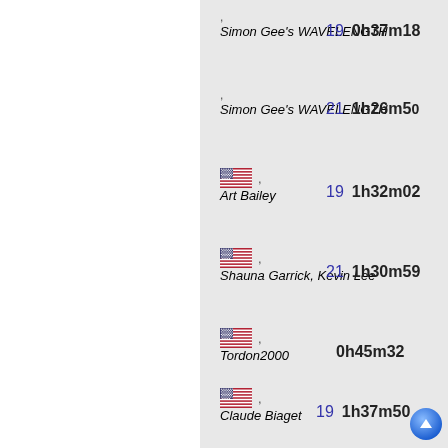, Simon Gee's WAVELENGTH | 19 | 0h37m18
, Simon Gee's WAVELENGTH | 21 | 1h26m50
[US flag], Art Bailey | 19 | 1h32m02
[US flag], Shauna Garrick, Kevin Lee | 21 | 1h30m59
[US flag], Tordon2000 | 0h45m32
[US flag], Claude Biaget | 19 | 1h37m50
, John Gilligan